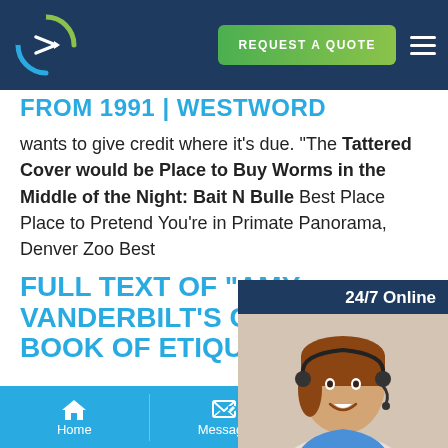REQUEST A QUOTE navigation bar with logo
FROM 1991 | WESTWORD
wants to give credit where it’s due. “The Tattered Cover would be Place to Buy Worms in the Middle of the Night: Bait N Bulle Best Place Place to Pretend You're in Primate Panorama, Denver Zoo Best
[Figure (photo): Customer service agent woman wearing headset, smiling, with 24/7 Online label and chat widget overlay]
FULL TEXT OF "AMY VANDERBILT'S COMPLETE BOOK OF ETIQUETTE : A
Home | Message | E-mail